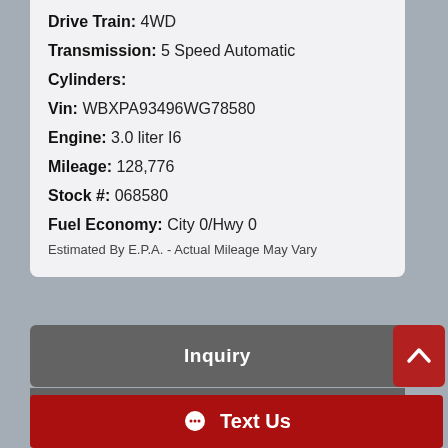Drive Train: 4WD
Transmission: 5 Speed Automatic
Cylinders:
Vin: WBXPA93496WG78580
Engine: 3.0 liter I6
Mileage: 128,776
Stock #: 068580
Fuel Economy: City 0/Hwy 0
Estimated By E.P.A. - Actual Mileage May Vary
Inquiry
Text Us